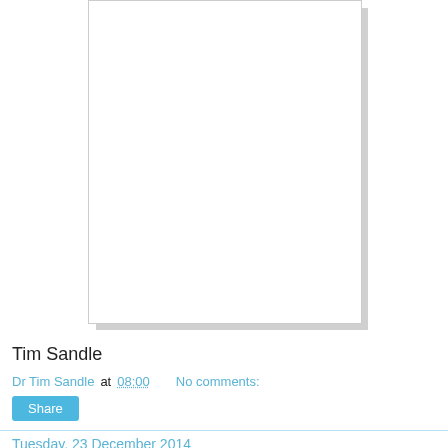[Figure (photo): A blank/white image placeholder with shadow, cropped at top of page]
Tim Sandle
Dr Tim Sandle at 08:00    No comments:
Share
Tuesday, 23 December 2014
One kiss holds 80 million bacteria
[Figure (photo): Partial image placeholder at bottom of page, cropped]